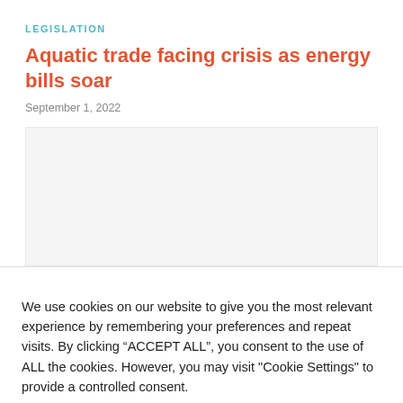LEGISLATION
Aquatic trade facing crisis as energy bills soar
September 1, 2022
[Figure (photo): Placeholder image area for article photo]
We use cookies on our website to give you the most relevant experience by remembering your preferences and repeat visits. By clicking “ACCEPT ALL”, you consent to the use of ALL the cookies. However, you may visit "Cookie Settings" to provide a controlled consent.
Cookie Settings | REJECT ALL | Accept All